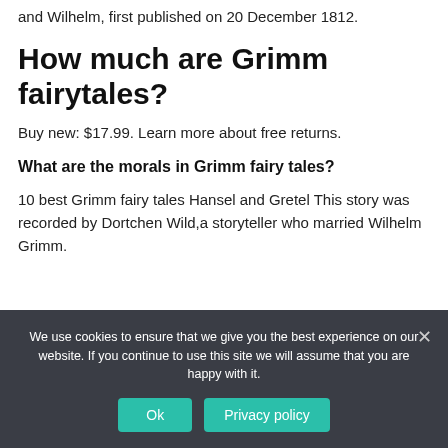and Wilhelm, first published on 20 December 1812.
How much are Grimm fairytales?
Buy new: $17.99. Learn more about free returns.
What are the morals in Grimm fairy tales?
10 best Grimm fairy tales Hansel and Gretel This story was recorded by Dortchen Wild,a storyteller who married Wilhelm Grimm.
We use cookies to ensure that we give you the best experience on our website. If you continue to use this site we will assume that you are happy with it.